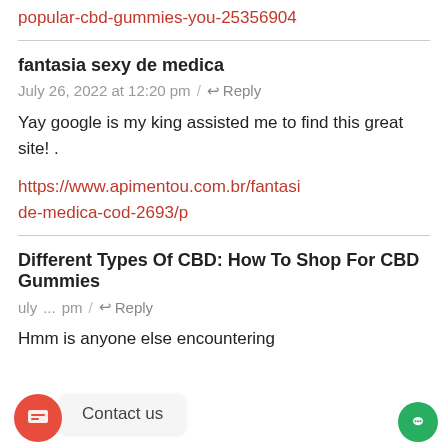popular-cbd-gummies-you-25356904
fantasia sexy de medica
July 26, 2022 at 12:20 pm / ↩ Reply
Yay google is my king assisted me to find this great site! .
https://www.apimentou.com.br/fantasia-de-medica-cod-2693/p
Different Types Of CBD: How To Shop For CBD Gummies
July ... pm / ↩ Reply
Hmm is anyone else encountering
Contact us